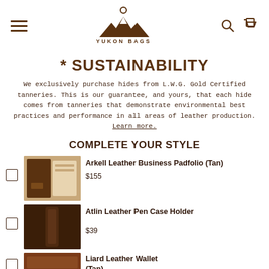Yukon Bags – navigation header with hamburger menu, logo, search and cart icons
* SUSTAINABILITY
We exclusively purchase hides from L.W.G. Gold Certified tanneries. This is our guarantee, and yours, that each hide comes from tanneries that demonstrate environmental best practices and performance in all areas of leather production. Learn more.
COMPLETE YOUR STYLE
Arkell Leather Business Padfolio (Tan)
$155
Atlin Leather Pen Case Holder
$39
Liard Leather Wallet (Tan)